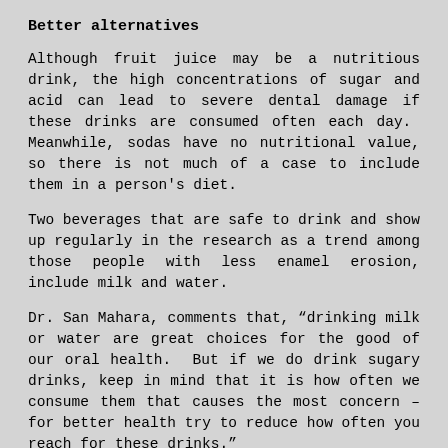Better alternatives
Although fruit juice may be a nutritious drink, the high concentrations of sugar and acid can lead to severe dental damage if these drinks are consumed often each day.  Meanwhile, sodas have no nutritional value, so there is not much of a case to include them in a person's diet.
Two beverages that are safe to drink and show up regularly in the research as a trend among those people with less enamel erosion, include milk and water.
Dr. San Mahara, comments that, “drinking milk or water are great choices for the good of our oral health.  But if we do drink sugary drinks, keep in mind that it is how often we consume them that causes the most concern – for better health try to reduce how often you reach for these drinks.”
Conclusion